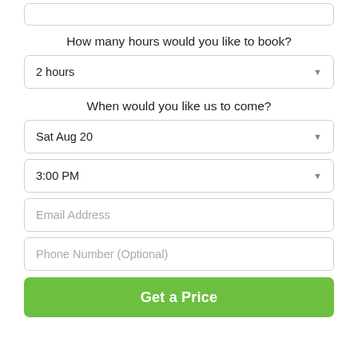[Figure (screenshot): Partial top box from previous form section]
How many hours would you like to book?
[Figure (screenshot): Dropdown selector showing '2 hours']
When would you like us to come?
[Figure (screenshot): Dropdown selector showing 'Sat Aug 20']
[Figure (screenshot): Dropdown selector showing '3:00 PM']
[Figure (screenshot): Text input field with placeholder 'Email Address']
[Figure (screenshot): Text input field with placeholder 'Phone Number (Optional)']
[Figure (screenshot): Green button labeled 'Get a Price']